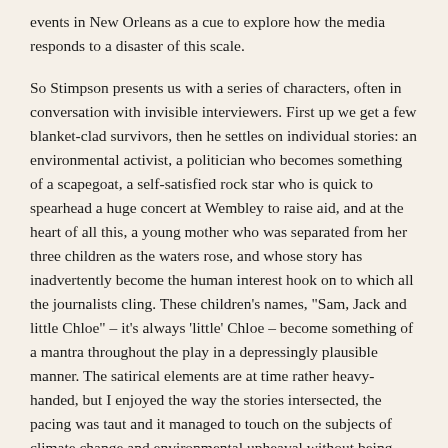events in New Orleans as a cue to explore how the media responds to a disaster of this scale.
So Stimpson presents us with a series of characters, often in conversation with invisible interviewers. First up we get a few blanket-clad survivors, then he settles on individual stories: an environmental activist, a politician who becomes something of a scapegoat, a self-satisfied rock star who is quick to spearhead a huge concert at Wembley to raise aid, and at the heart of all this, a young mother who was separated from her three children as the waters rose, and whose story has inadvertently become the human interest hook on to which all the journalists cling. These children's names, "Sam, Jack and little Chloe" – it's always 'little' Chloe – become something of a mantra throughout the play in a depressingly plausible manner. The satirical elements are at time rather heavy-handed, but I enjoyed the way the stories intersected, the pacing was taut and it managed to touch on the subjects of climate change and environmental upheaval without being preachy or overly doomy.
Plus, and here's praise, it was engaging enough for me to - just - about be able to blot out the noise from above. I've not seen Jenufa